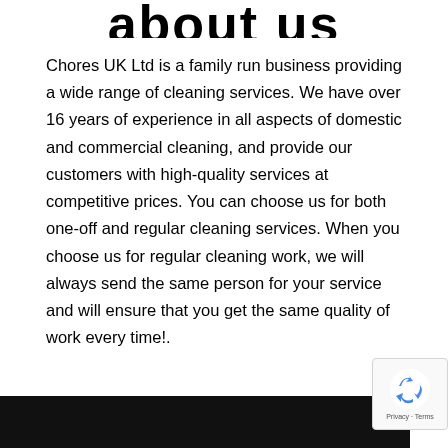about us
Chores UK Ltd is a family run business providing a wide range of cleaning services. We have over 16 years of experience in all aspects of domestic and commercial cleaning, and provide our customers with high-quality services at competitive prices. You can choose us for both one-off and regular cleaning services. When you choose us for regular cleaning work, we will always send the same person for your service and will ensure that you get the same quality of work every time!.
[Figure (other): reCAPTCHA badge with recycling arrows logo and Privacy · Terms text]